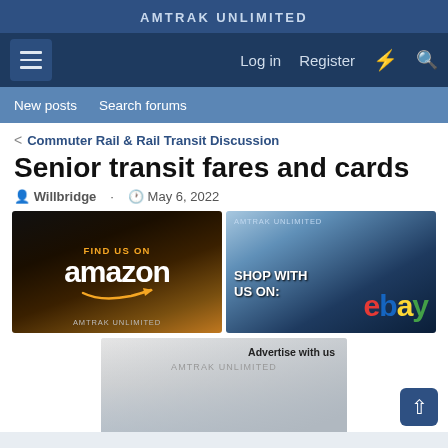AMTRAK UNLIMITED
Log in  Register
New posts  Search forums
< Commuter Rail & Rail Transit Discussion
Senior transit fares and cards
Willbridge · May 6, 2022
[Figure (advertisement): Find us on Amazon - Amtrak Unlimited advertisement banner with train interior background]
[Figure (advertisement): Shop with us on eBay - Amtrak Unlimited advertisement banner with snowy train scene]
[Figure (advertisement): Advertise with us - Amtrak Unlimited advertisement with train in snow]